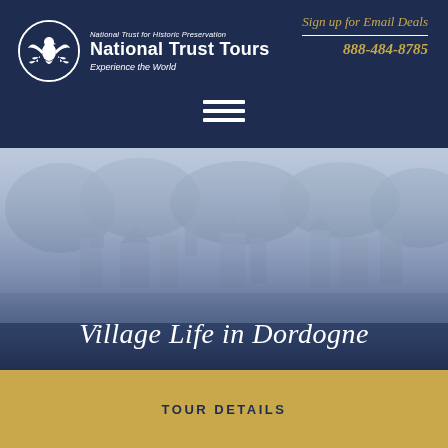National Trust for Historic Preservation — National Trust Tours — Experience the World
Sign up for Email Deals
888-484-8785
[Figure (photo): Aerial view of a French village in the Dordogne region, with stone buildings and lush green trees, overlaid with a dark navy gradient]
Village Life in Dordogne
TOUR DETAILS